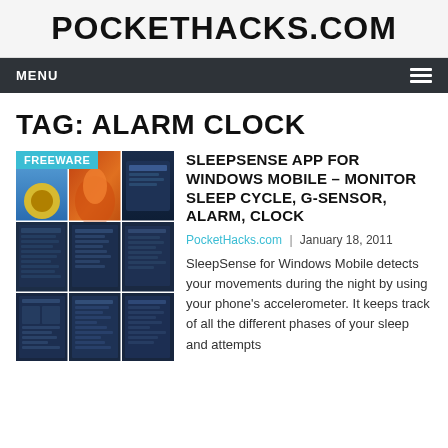POCKETHACKS.COM
MENU
TAG: ALARM CLOCK
[Figure (screenshot): App screenshot grid with FREEWARE badge]
SLEEPSENSE APP FOR WINDOWS MOBILE – MONITOR SLEEP CYCLE, G-SENSOR, ALARM, CLOCK
PocketHacks.com | January 18, 2011
SleepSense for Windows Mobile detects your movements during the night by using your phone's accelerometer. It keeps track of all the different phases of your sleep and attempts